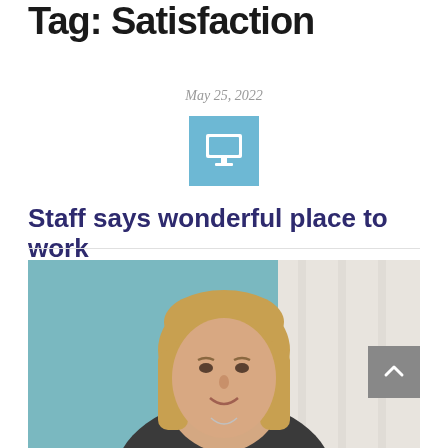Tag: Satisfaction
May 25, 2022
[Figure (illustration): Computer monitor icon on a light blue square background]
Staff says wonderful place to work
[Figure (photo): Portrait photo of a middle-aged woman with shoulder-length blonde hair, wearing a dark jacket, smiling, with a teal and white background]